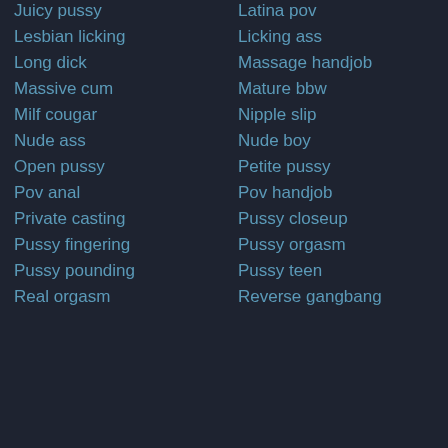Juicy pussy
Latina pov
Lesbian licking
Licking ass
Long dick
Massage handjob
Massive cum
Mature bbw
Milf cougar
Nipple slip
Nude ass
Nude boy
Open pussy
Petite pussy
Pov anal
Pov handjob
Private casting
Pussy closeup
Pussy fingering
Pussy orgasm
Pussy pounding
Pussy teen
Real orgasm
Reverse gangbang